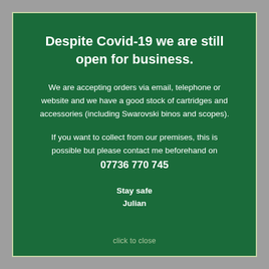Despite Covid-19 we are still open for business.
We are accepting orders via email, telephone or website and we have a good stock of cartridges and accessories (including Swarovski binos and scopes).
If you want to collect from our premises, this is possible but please contact me beforehand on 07736 770 745
Stay safe
Julian
click to close